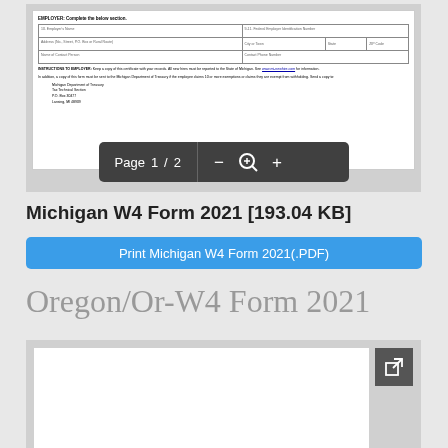[Figure (screenshot): Preview of Michigan W4 Form 2021 PDF document showing employer section with fields for employer name, Federal Employer Identification Number, address, city, state, ZIP, contact person, and instructions. PDF viewer toolbar shows Page 1 / 2 with zoom controls.]
Michigan W4 Form 2021 [193.04 KB]
Print Michigan W4 Form 2021(.PDF)
Oregon/Or-W4 Form 2021
[Figure (screenshot): Preview of Oregon Or-W4 Form 2021 PDF document, showing beginning of form with external link icon in top right corner.]